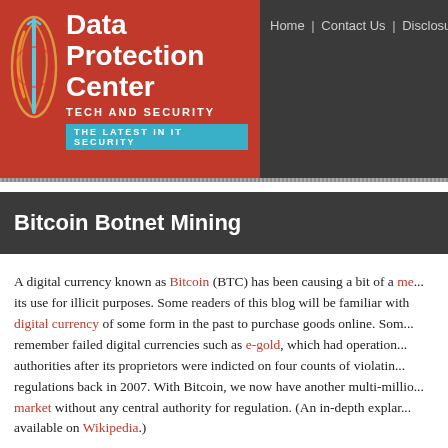[Figure (logo): Data Protection Center logo with red background, flame/shield icon, title 'Data Protection Center', subtitle 'TECH AND SECURITY', tagline 'THE LATEST IN IT SECURITY']
Home | Contact Us | Disclosure | ...
Bitcoin Botnet Mining
A digital currency known as Bitcoin (BTC) has been causing a bit of a me... its use for illicit purposes. Some readers of this blog will be familiar with... digital currency of some form in the past to purchase goods online. Som... remember failed digital currencies such as e-gold, which had operation... authorities after its proprietors were indicted on four counts of violatin... regulations back in 2007. With Bitcoin, we now have another multi-millio... market without any central authority for regulation. (An in-depth explar... available on Wikipedia.)